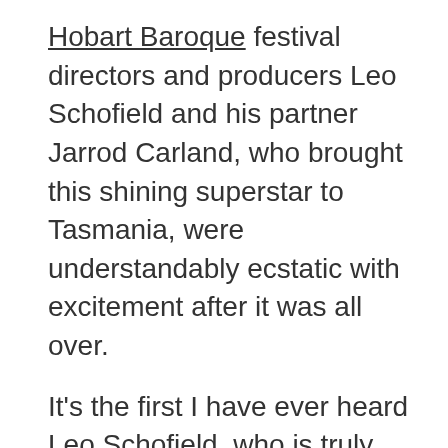Hobart Baroque festival directors and producers Leo Schofield and his partner Jarrod Carland, who brought this shining superstar to Tasmania, were understandably ecstatic with excitement after it was all over.

It's the first I have ever heard Leo Schofield, who is truly one of the great wordsmiths of the world, nearly stumped when he tried to express eloquently what we were all feeling.

He thanked her graciously on everyone's behalf at a party given in her honour at the Henry Jones Art Hotel.